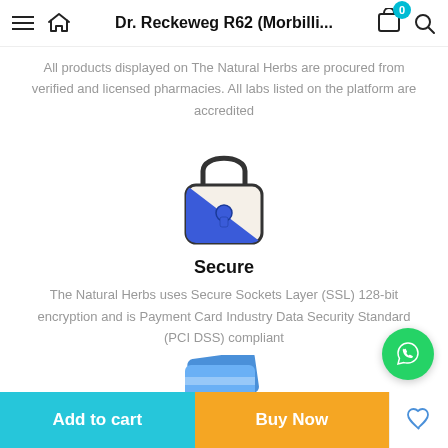Dr. Reckeweg R62 (Morbilli...
All products displayed on The Natural Herbs are procured from verified and licensed pharmacies. All labs listed on the platform are accredited
[Figure (illustration): Blue and white padlock security icon]
Secure
The Natural Herbs uses Secure Sockets Layer (SSL) 128-bit encryption and is Payment Card Industry Data Security Standard (PCI DSS) compliant
[Figure (illustration): Partial blue credit card icon visible at bottom]
[Figure (illustration): WhatsApp floating action button (green circle with phone icon)]